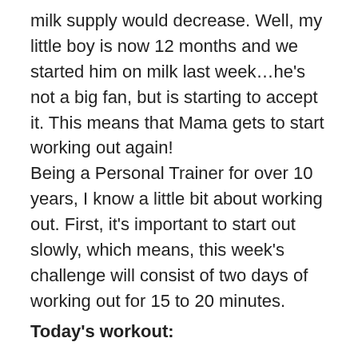milk supply would decrease. Well, my little boy is now 12 months and we started him on milk last week…he's not a big fan, but is starting to accept it. This means that Mama gets to start working out again!
Being a Personal Trainer for over 10 years, I know a little bit about working out. First, it's important to start out slowly, which means, this week's challenge will consist of two days of working out for 15 to 20 minutes.
Today's workout:
Legs (using just body weight):
-Squats 3 x 15 (make sure your knees don't go over your toes)
-Reverse Lunges 2 x 10
-Side Lunges 2 x 10